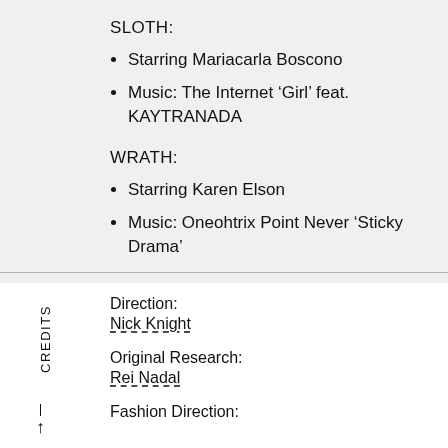SLOTH:
Starring Mariacarla Boscono
Music: The Internet ‘Girl’ feat. KAYTRANADA
WRATH:
Starring Karen Elson
Music: Oneohtrix Point Never ‘Sticky Drama’
CREDITS
Direction:
Nick Knight
Original Research:
Rei Nadal
Fashion Direction: